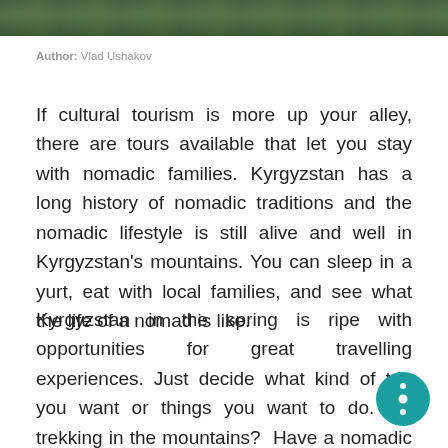[Figure (photo): Partial photograph strip at the top of the page showing a green outdoor/nature scene]
Author: Vlad Ushakov
If cultural tourism is more up your alley, there are tours available that let you stay with nomadic families. Kyrgyzstan has a long history of nomadic traditions and the nomadic lifestyle is still alive and well in Kyrgyzstan's mountains. You can sleep in a yurt, eat with local families, and see what the life of a nomad is like.
Kyrgyzstan in the spring is ripe with opportunities for great travelling experiences. Just decide what kind of trip you want or things you want to do. Go trekking in the mountains?  Have a nomadic adventure? Check some historical places? Relax by an alpine lake? Options are limitless.